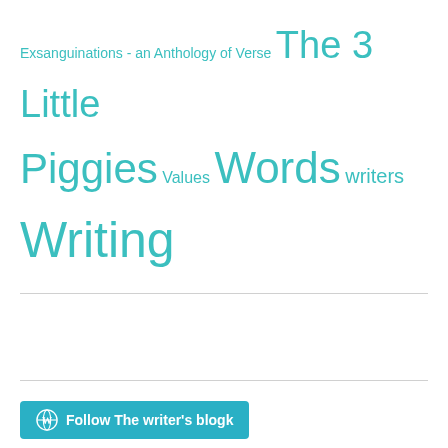Exsanguinations - an Anthology of Verse  The 3 Little Piggies  Values  Words  writers  Writing
[Figure (other): Follow The writer's blogk button with WordPress logo]
[Figure (logo): Internet Defense League badge - shield shaped black badge with text: Proud member of THE INTERNET DEFENSE LEAGUE]